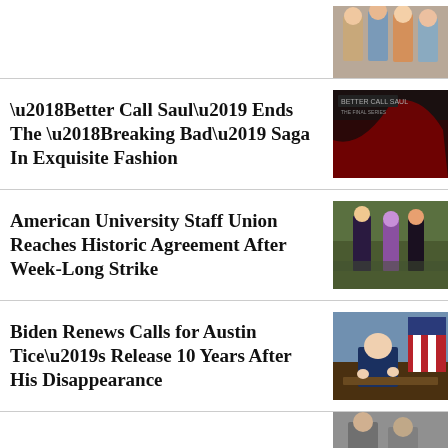[Figure (photo): Partial top photo of group of people, cropped at top of page]
‘Better Call Saul’ Ends The ‘Breaking Bad’ Saga In Exquisite Fashion
[Figure (photo): Better Call Saul promotional image with red draping]
American University Staff Union Reaches Historic Agreement After Week-Long Strike
[Figure (photo): People walking outside, strike scene]
Biden Renews Calls for Austin Tice’s Release 10 Years After His Disappearance
[Figure (photo): President Biden at desk in Oval Office]
[Figure (photo): Partial bottom photo, cropped]